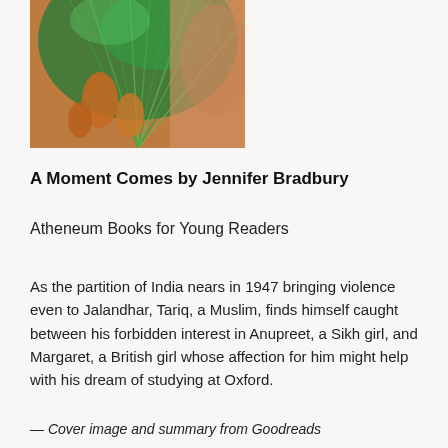[Figure (photo): Close-up photo of a peacock feather with green and orange colors, partially cropped at top of page]
A Moment Comes by Jennifer Bradbury
Atheneum Books for Young Readers
As the partition of India nears in 1947 bringing violence even to Jalandhar, Tariq, a Muslim, finds himself caught between his forbidden interest in Anupreet, a Sikh girl, and Margaret, a British girl whose affection for him might help with his dream of studying at Oxford.
— Cover image and summary from Goodreads